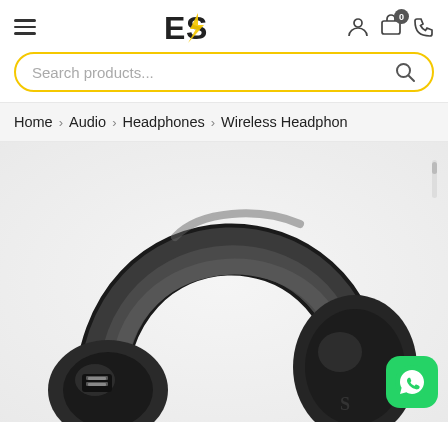ES logo, hamburger menu, user icon, cart (0), phone icon
Search products...
Home > Audio > Headphones > Wireless Headphones
[Figure (photo): Close-up photo of a black over-ear wireless headphone showing the headband and ear cup, on a white background]
[Figure (logo): WhatsApp green button icon in the bottom right corner]